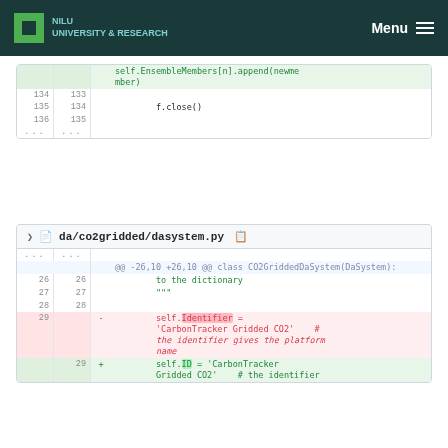NILU University & Research — Menu
self.EnsembleMembers[n].append(newmember)
134  133
135  134    f.close()
136  135
...  ...
da/co2gridded/dasystem.py
@@ -26,10 +26,10 @@ class CO2GriddedDaSystem(DaSystem):
26  26    to the dictionary
27  27    """
28  28
29  -    self.Identifier = 'CarbonTracker Gridded CO2'    # the identifier gives the platform name
    29  +    self.ID = 'CarbonTracker Gridded CO2'    # the identifier